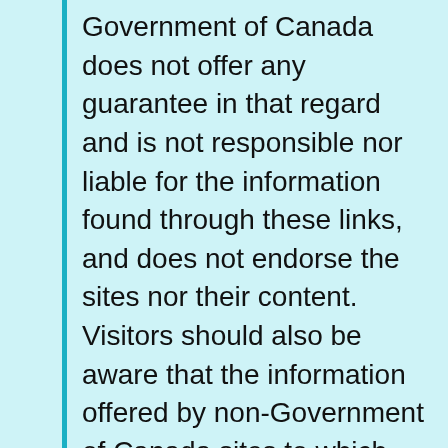Government of Canada does not offer any guarantee in that regard and is not responsible nor liable for the information found through these links, and does not endorse the sites nor their content. Visitors should also be aware that the information offered by non-Government of Canada sites to which this website links is not subject to the Privacy Act or the Official Languages Act and may not be accessible to persons